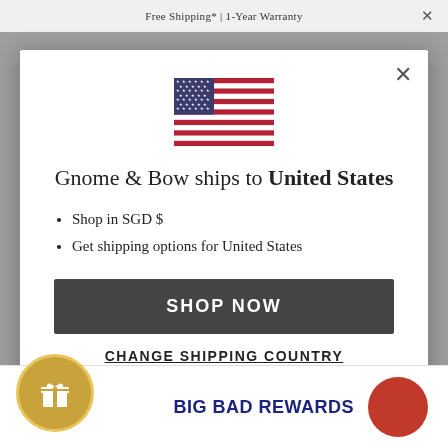Free Shipping* | 1-Year Warranty
[Figure (illustration): US flag icon displayed in modal dialog]
Gnome & Bow ships to United States
Shop in SGD $
Get shipping options for United States
SHOP NOW
CHANGE SHIPPING COUNTRY
BIG BAD REWARDS